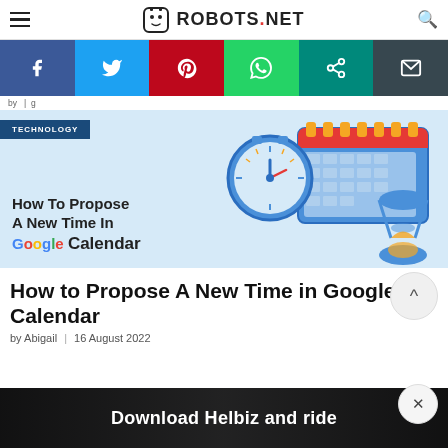ROBOTS.NET
[Figure (screenshot): Social share bar with Facebook, Twitter, Pinterest, WhatsApp, Copy-link, and Email buttons]
by Abigail (breadcrumb/navigation text)
[Figure (illustration): Hero image: How To Propose A New Time In Google Calendar — illustration with clock, calendar, and hourglass on light blue background. TECHNOLOGY tag overlay.]
How to Propose A New Time in Google Calendar
by Abigail | 16 August 2022
[Figure (screenshot): Advertisement banner: Download Helbiz and ride]